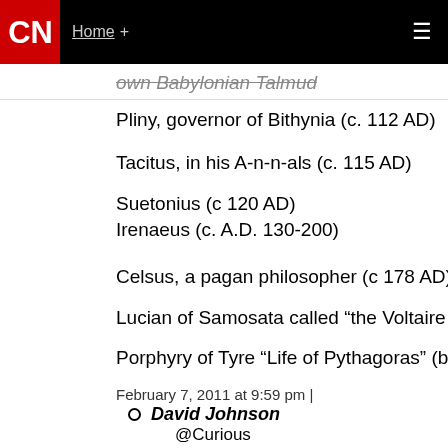CNN | Home +
own Babylonian Talmud
Pliny, governor of Bithynia (c. 112 AD)
Tacitus, in his A-n-n-als (c. 115 AD)
Suetonius (c 120 AD)
Irenaeus (c. A.D. 130-200)
Celsus, a pagan philosopher (c 178 AD)
Lucian of Samosata called “the Voltaire of Grecian lite
Porphyry of Tyre “Life of Pythagoras” (born c 233 AD)
February 7, 2011 at 9:59 pm |
David Johnson
@Curious
You said: "There are proofs recorded that Jesus walked the Earth. Here are some."